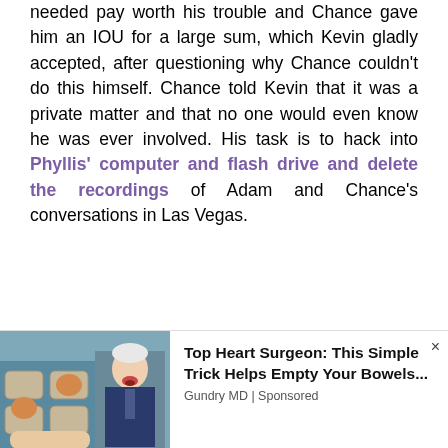needed pay worth his trouble and Chance gave him an IOU for a large sum, which Kevin gladly accepted, after questioning why Chance couldn't do this himself. Chance told Kevin that it was a private matter and that no one would even know he was ever involved. His task is to hack into Phyllis' computer and flash drive and delete the recordings of Adam and Chance's conversations in Las Vegas.
[Figure (photo): Advertisement image showing a man with eggs in a container and a doctor figure, promoting a heart health product]
Top Heart Surgeon: This Simple Trick Helps Empty Your Bowels... Gundry MD | Sponsored